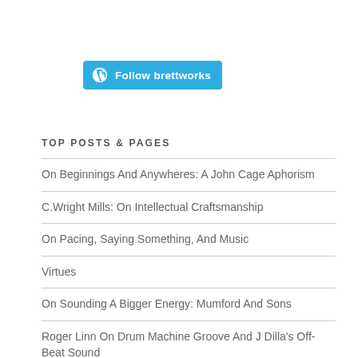[Figure (logo): WordPress Follow brettworks button — cyan/blue rounded rectangle with WordPress logo icon and text 'Follow brettworks']
TOP POSTS & PAGES
On Beginnings And Anywheres: A John Cage Aphorism
C.Wright Mills: On Intellectual Craftsmanship
On Pacing, Saying Something, And Music
Virtues
On Sounding A Bigger Energy: Mumford And Sons
Roger Linn On Drum Machine Groove And J Dilla's Off-Beat Sound
On Nostalgia And The Voice Of Michael McDonald
Resonant Thoughts: Einar Torfi Einarsson's "Music Is Not" (2019)